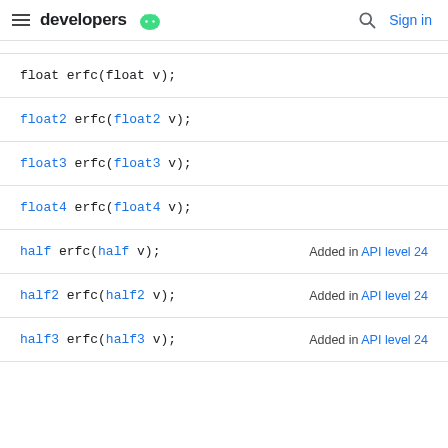developers | Sign in
float erfc(float v);
float2 erfc(float2 v);
float3 erfc(float3 v);
float4 erfc(float4 v);
half erfc(half v); Added in API level 24
half2 erfc(half2 v); Added in API level 24
half3 erfc(half3 v); Added in API level 24